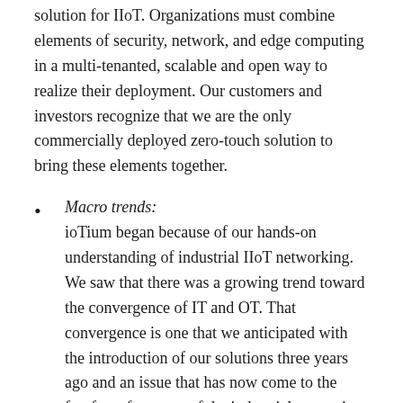solution for IIoT. Organizations must combine elements of security, network, and edge computing in a multi-tenanted, scalable and open way to realize their deployment. Our customers and investors recognize that we are the only commercially deployed zero-touch solution to bring these elements together.
Macro trends: ioTium began because of our hands-on understanding of industrial IIoT networking. We saw that there was a growing trend toward the convergence of IT and OT. That convergence is one that we anticipated with the introduction of our solutions three years ago and an issue that has now come to the forefront for many of the industrial enterprises that we work with in building automation.